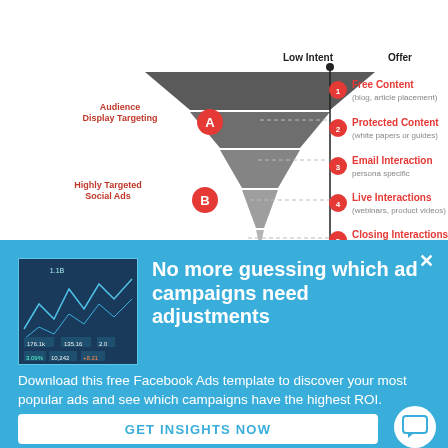[Figure (infographic): Marketing funnel diagram with stages A, B, C on the left (Audience Display Targeting, Highly Targeted Social Ads, Paid Search & Retargeting) and numbered offer items 1-6 on the right (Free Content, Protected Content, Email Interaction, Live Interactions, Closing Interactions, Sales), with a vertical line labeled 'Low Intent' and dashed horizontal lines connecting funnel to offers.]
No more guessing which ad campaigns need adjustments
Download this free Facebook Ads template to discover your most popular ads and see which campaigns have the highest ROI.
GET INSIGHTS NOW